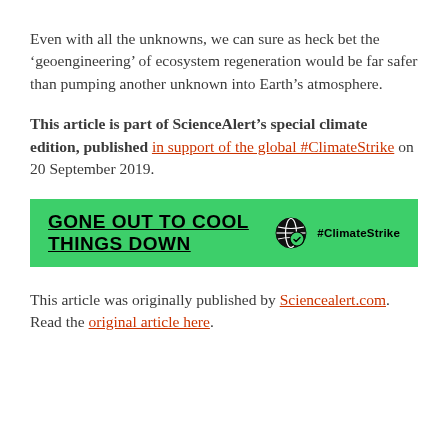Even with all the unknowns, we can sure as heck bet the ‘geoengineering’ of ecosystem regeneration would be far safer than pumping another unknown into Earth’s atmosphere.
This article is part of ScienceAlert’s special climate edition, published in support of the global #ClimateStrike on 20 September 2019.
[Figure (infographic): Green banner reading 'GONE OUT TO COOL THINGS DOWN' with a globe icon and '#ClimateStrike' hashtag on the right]
This article was originally published by Sciencealert.com. Read the original article here.